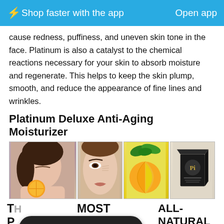⚡ Shop faster with the app   Open app
cause redness, puffiness, and uneven skin tone in the face. Platinum is also a catalyst to the chemical reactions necessary for your skin to absorb moisture and regenerate. This helps to keep the skin plump, smooth, and reduce the appearance of fine lines and wrinkles.
Platinum Deluxe Anti-Aging Moisturizer
[Figure (photo): Four images in a row: 1) Woman with eyes closed holding an orange slice, 2) Closeup of a woman's face showing fine lines, 3) Orange citrus fruit and green citrus/herbs on yellow background, 4) Black product box labeled 'Pi Platinum Deluxe']
THE MOST EFFECTIVE ANTI-AGING  ALL-NATURAL PLATINUM PREMIUM DELUX  ANTIOXIDANT ANTI-AGING  INCREASE A... [partial text visible]
Chat with us